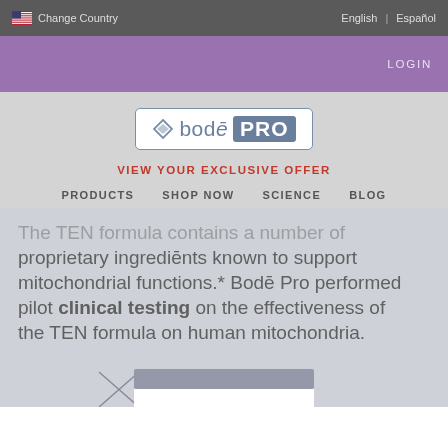Change Country | English | Español
LOGIN
[Figure (logo): Bodē PRO logo with diamond icon in a rounded rectangle border]
VIEW YOUR EXCLUSIVE OFFER
PRODUCTS   SHOP NOW   SCIENCE   BLOG
The TEN formula contains a number of proprietary ingredients known to support mitochondrial functions.* Bodē Pro performed pilot clinical testing on the effectiveness of the TEN formula on human mitochondria.
[Figure (screenshot): Bottom edge of a chart or table partially visible at the bottom of the page]